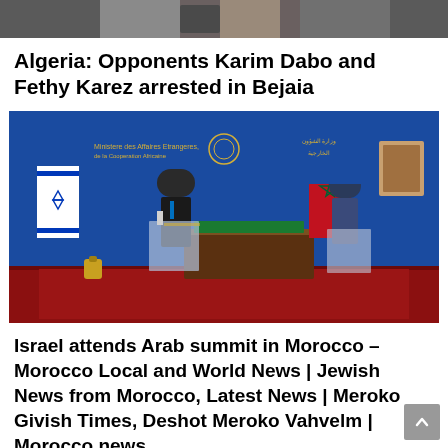[Figure (photo): Partial top photo strip showing people, cropped at top of page]
Algeria: Opponents Karim Dabo and Fethy Karez arrested in Bejaia
[Figure (photo): Press conference photo showing two men in suits standing at podiums with Israeli and Moroccan flags in a room with blue walls and Arabic/French text signage from the Moroccan Ministry of Foreign Affairs]
Israel attends Arab summit in Morocco – Morocco Local and World News | Jewish News from Morocco, Latest News | Meroko Givish Times, Deshot Meroko Vahvelm | Morocco news